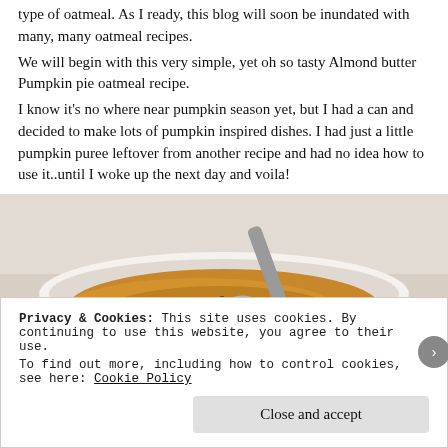type of oatmeal. As I ready, this blog will soon be inundated with many, many oatmeal recipes.
We will begin with this very simple, yet oh so tasty Almond butter Pumpkin pie oatmeal recipe.
I know it's no where near pumpkin season yet, but I had a can and decided to make lots of pumpkin inspired dishes. I had just a little pumpkin puree leftover from another recipe and had no idea how to use it..until I woke up the next day and voila!
[Figure (photo): A white bowl filled with orange-colored oatmeal (pumpkin oatmeal) topped with dark seeds/spices, with a metal spoon resting in the bowl. The background is a light surface.]
Privacy & Cookies: This site uses cookies. By continuing to use this website, you agree to their use.
To find out more, including how to control cookies, see here: Cookie Policy
Close and accept